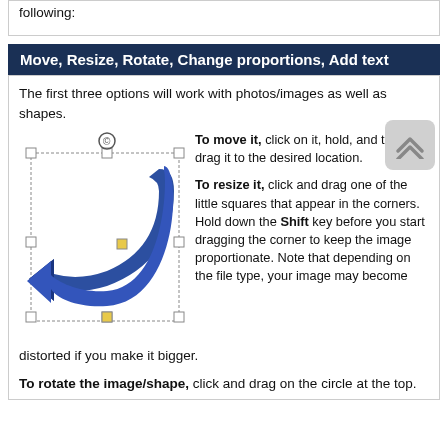following:
Move, Resize, Rotate, Change proportions, Add text
The first three options will work with photos/images as well as shapes.
[Figure (illustration): A blue curved arrow shape with selection handles (white squares at corners and edges, yellow squares at certain points) and a rotate handle (circle with C) at the top. A gray rounded-rectangle scroll icon appears to the right.]
To move it, click on it, hold, and then drag it to the desired location.
To resize it, click and drag one of the little squares that appear in the corners. Hold down the Shift key before you start dragging the corner to keep the image proportionate. Note that depending on the file type, your image may become distorted if you make it bigger.
To rotate the image/shape, click and drag on the circle at the top.